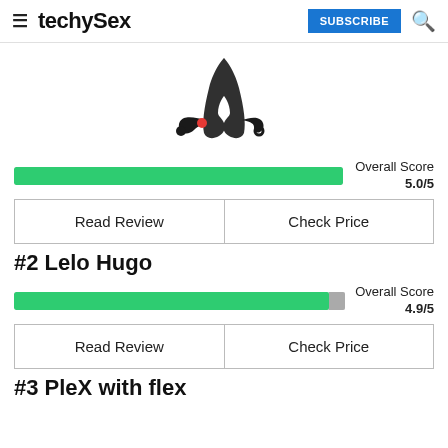techySex | SUBSCRIBE
[Figure (photo): Black prostate massager toy on white background]
[Figure (bar-chart): Overall Score 5.0/5]
| Read Review | Check Price |
| --- | --- |
#2 Lelo Hugo
[Figure (bar-chart): Overall Score 4.9/5]
| Read Review | Check Price |
| --- | --- |
#3 PleX with flex